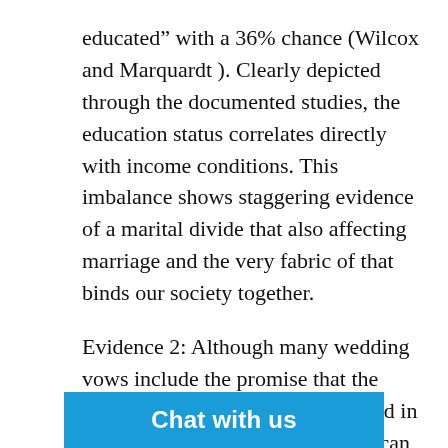educated” with a 36% chance (Wilcox and Marquardt ). Clearly depicted through the documented studies, the education status correlates directly with income conditions. This imbalance shows staggering evidence of a marital divide that also affecting marriage and the very fabric of that binds our society together.
Evidence 2: Although many wedding vows include the promise that the couple will be there in sickness and in health, this pledge to one another can be tested if a spouse is later diagnosed with a chronic illness that puts a strain on the ideal relationship. Research specialist and Social Family Advocate Recipient, Alexandra Sifferlin, reviewed a 2010 study from the University of Michigan of 2,717 couples and found that “31% of marriages involving at least one sick partner end in divorce”… percentage